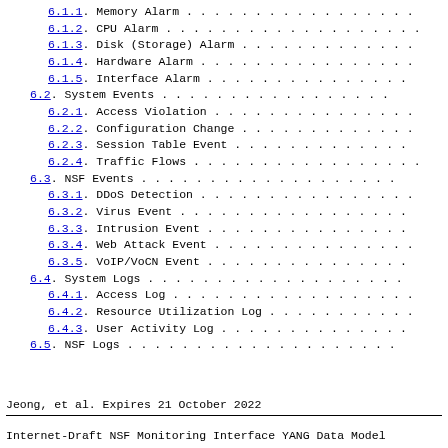6.1.1. Memory Alarm
6.1.2. CPU Alarm
6.1.3. Disk (Storage) Alarm
6.1.4. Hardware Alarm
6.1.5. Interface Alarm
6.2. System Events
6.2.1. Access Violation
6.2.2. Configuration Change
6.2.3. Session Table Event
6.2.4. Traffic Flows
6.3. NSF Events
6.3.1. DDoS Detection
6.3.2. Virus Event
6.3.3. Intrusion Event
6.3.4. Web Attack Event
6.3.5. VoIP/VoCN Event
6.4. System Logs
6.4.1. Access Log
6.4.2. Resource Utilization Log
6.4.3. User Activity Log
6.5. NSF Logs
Jeong, et al.          Expires 21 October 2022
Internet-Draft  NSF Monitoring Interface YANG Data Model